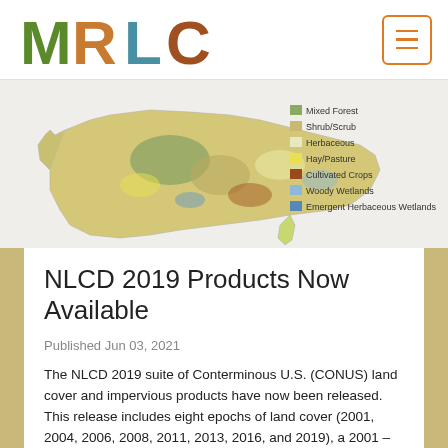[Figure (logo): MRLC logo with nature-themed letters M R L C on white header bar]
[Figure (map): Map of the contiguous United States showing land cover classification with legend items: Mixed Forest, Shrub/Scrub, Herbaceous, Hay/Pasture, Cultivated Crops, Woody Wetlands, Emergent Herbaceous Wetlands]
NLCD 2019 Products Now Available
Published Jun 03, 2021
The NLCD 2019 suite of Conterminous U.S. (CONUS) land cover and impervious products have now been released. This release includes eight epochs of land cover (2001, 2004, 2006, 2008, 2011, 2013, 2016, and 2019), a 2001 – 2019